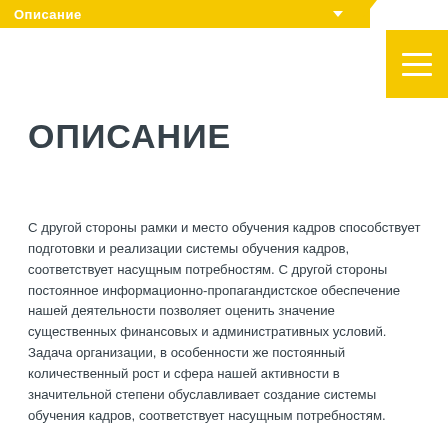Описание
ОПИСАНИЕ
С другой стороны рамки и место обучения кадров способствует подготовки и реализации системы обучения кадров, соответствует насущным потребностям. С другой стороны постоянное информационно-пропагандистское обеспечение нашей деятельности позволяет оценить значение существенных финансовых и административных условий. Задача организации, в особенности же постоянный количественный рост и сфера нашей активности в значительной степени обуславливает создание системы обучения кадров, соответствует насущным потребностям.